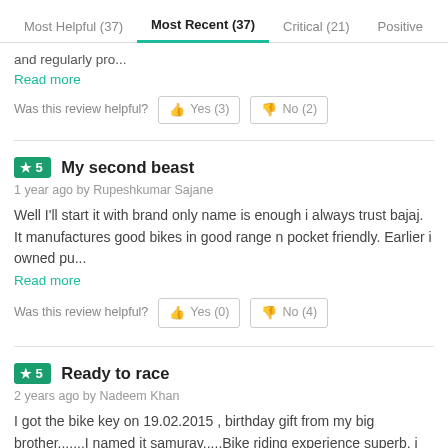Most Helpful (37)   Most Recent (37)   Critical (21)   Positive
and regularly pro...
Read more
Was this review helpful?  Yes (3)  No (2)
★5  My second beast
1 year ago by Rupeshkumar Sajane
Well I'll start it with brand only name is enough i always trust bajaj. It manufactures good bikes in good range n pocket friendly. Earlier i owned pu...
Read more
Was this review helpful?  Yes (0)  No (4)
★5  Ready to race
2 years ago by Nadeem Khan
I got the bike key on 19.02.2015 , birthday gift from my big brother.......I named it samuray.....Bike riding experience superb, i driven this bike abo...
Read more
Was this review helpful?  Yes (2)  No (2)